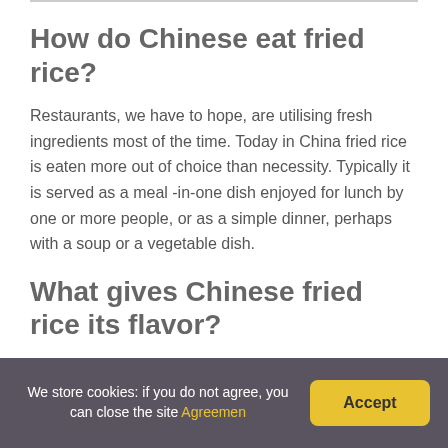How do Chinese eat fried rice?
Restaurants, we have to hope, are utilising fresh ingredients most of the time. Today in China fried rice is eaten more out of choice than necessity. Typically it is served as a meal -in-one dish enjoyed for lunch by one or more people, or as a simple dinner, perhaps with a soup or a vegetable dish.
What gives Chinese fried rice its flavor?
We store cookies: if you do not agree, you can close the site Agreemen